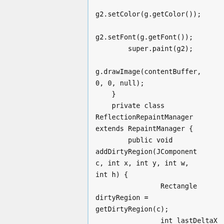g2.setColor(g.getColor());

g2.setFont(g.getFont());
        super.paint(g2);

g.drawImage(contentBuffer,
0, 0, null);
    }
    private class ReflectionRepaintManager
extends RepaintManager {
        public void
addDirtyRegion(JComponent
c, int x, int y, int w,
int h) {
                Rectangle
dirtyRegion =
getDirtyRegion(c);
                int lastDeltaX
= c.getX();
                int lastDeltaY
= c.getY();
                Container